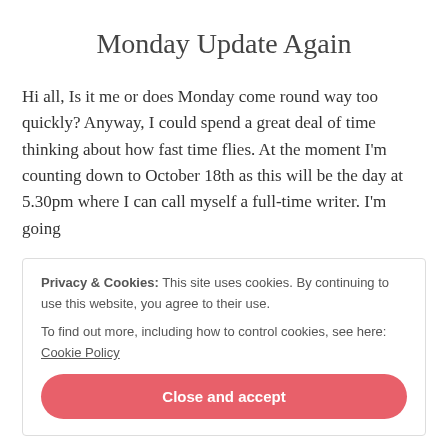Monday Update Again
Hi all, Is it me or does Monday come round way too quickly? Anyway, I could spend a great deal of time thinking about how fast time flies. At the moment I'm counting down to October 18th as this will be the day at 5.30pm where I can call myself a full-time writer. I'm going
Privacy & Cookies: This site uses cookies. By continuing to use this website, you agree to their use.
To find out more, including how to control cookies, see here: Cookie Policy
Close and accept